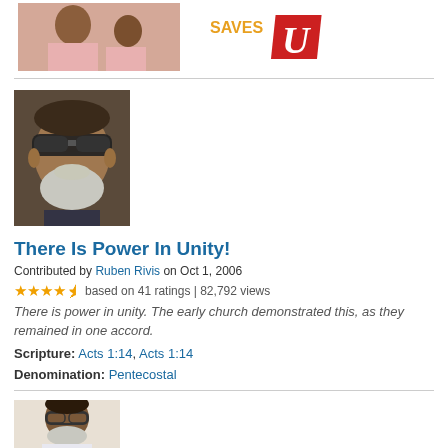[Figure (photo): Banner photo of people in pink clothing with a 'Saves U' graphic in orange and red]
[Figure (photo): Close-up photo of a man with sunglasses and a white-grey beard]
There Is Power In Unity!
Contributed by Ruben Rivis on Oct 1, 2006
★★★★½ based on 41 ratings | 82,792 views
There is power in unity. The early church demonstrated this, as they remained in one accord.
Scripture: Acts 1:14, Acts 1:14
Denomination: Pentecostal
[Figure (photo): Photo of a man with glasses and a grey beard on light background]